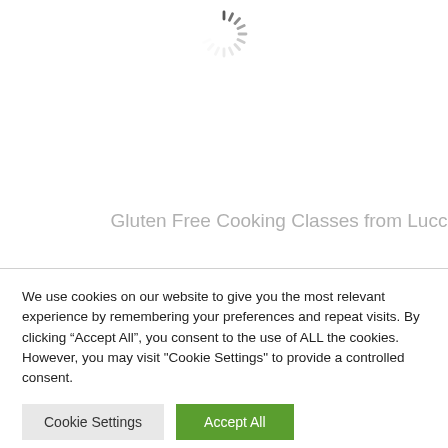[Figure (other): Loading spinner (circular dashed spinner icon) centered near top of page]
Gluten Free Cooking Classes from Lucca
We use cookies on our website to give you the most relevant experience by remembering your preferences and repeat visits. By clicking “Accept All”, you consent to the use of ALL the cookies. However, you may visit "Cookie Settings" to provide a controlled consent.
Cookie Settings
Accept All